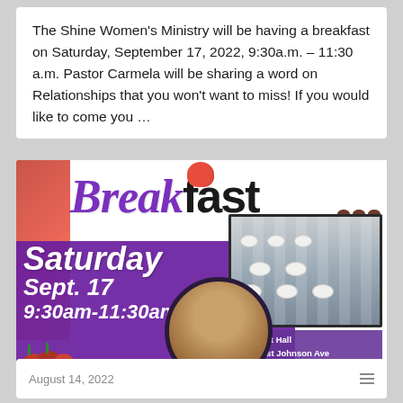The Shine Women's Ministry will be having a breakfast on Saturday, September 17, 2022, 9:30a.m. – 11:30 a.m. Pastor Carmela will be sharing a word on Relationships that you won't want to miss! If you would like to come you …
[Figure (illustration): Event flyer for a breakfast on Saturday, Sept. 17, 9:30am-11:30am. Features the word 'Breakfast' in purple cursive and black bold text, strawberries, coffee beans, a banquet hall photo, a pastor portrait, and purple text with date/time and venue: Banquet Hall, 174 East Johnson Ave, Cheshire, Ct 06410.]
August 14, 2022